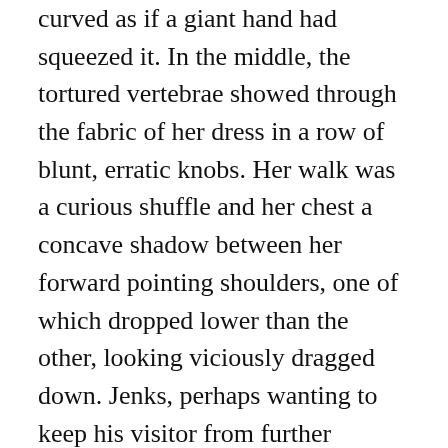curved as if a giant hand had squeezed it. In the middle, the tortured vertebrae showed through the fabric of her dress in a row of blunt, erratic knobs. Her walk was a curious shuffle and her chest a concave shadow between her forward pointing shoulders, one of which dropped lower than the other, looking viciously dragged down. Jenks, perhaps wanting to keep his visitor from further examining the establishment, nodded towards Mary.
“Out of the mines up north, she is. Hauled carts of coal up the tunnels till her back got turned down like that. Ain’t supposed to be girls in the pits these days but lots are made to go down on the sly. Old pits, back of the hills, that can’t afford machinery. Ran away, finally, and found